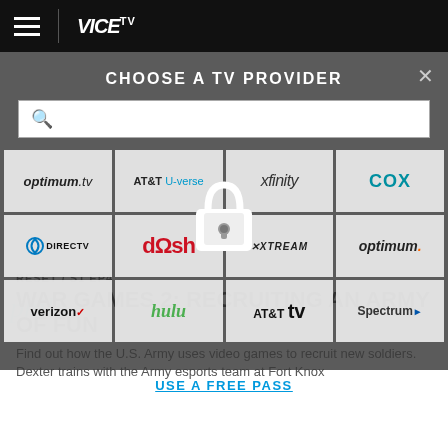VICE TV
CHOOSE A TV PROVIDER
[Figure (screenshot): TV provider selection modal with search box and provider logos: optimum.tv, AT&T U-verse, xfinity, COX, DIRECTV, dish, XTREAM, optimum., verizon, hulu, AT&T TV, Spectrum. Lock icon overlay in center. Below: article section with episode label RESET / S1 EP4 and title WAR GAMES 2: RECRUITING AN ARMY OF FUN with body text.]
RESET / S1 EP4
WAR GAMES 2: RECRUITING AN ARMY OF FUN
Find out how the U.S. Army uses video games to recruit new soldiers. Dexter trains with the Army esports team at Fort Knox